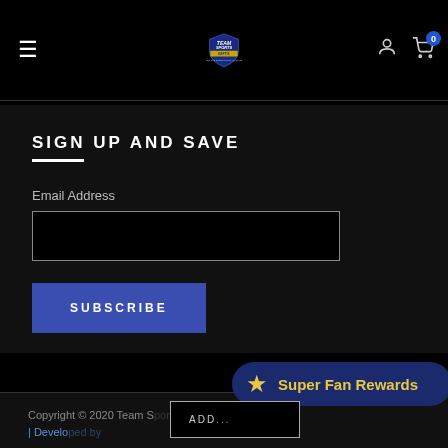[Figure (logo): Team Sports Gifts logo with shield graphic and tagline]
SIGN UP AND SAVE
Email Address
SUBSCRIBE
Copyright © 2020 Team Sports Gifts. All rights reserved. | Developed by...
[Figure (infographic): Super Fan Rewards badge overlay with gold star]